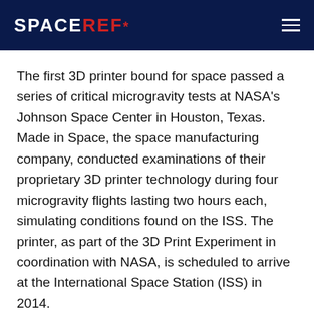SPACEREF*
The first 3D printer bound for space passed a series of critical microgravity tests at NASA's Johnson Space Center in Houston, Texas. Made in Space, the space manufacturing company, conducted examinations of their proprietary 3D printer technology during four microgravity flights lasting two hours each, simulating conditions found on the ISS. The printer, as part of the 3D Print Experiment in coordination with NASA, is scheduled to arrive at the International Space Station (ISS) in 2014.